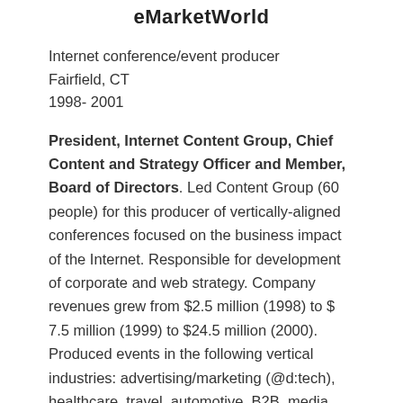eMarketWorld
Internet conference/event producer
Fairfield, CT
1998- 2001
President, Internet Content Group, Chief Content and Strategy Officer and Member, Board of Directors. Led Content Group (60 people) for this producer of vertically-aligned conferences focused on the business impact of the Internet. Responsible for development of corporate and web strategy. Company revenues grew from $2.5 million (1998) to $ 7.5 million (1999) to $24.5 million (2000). Produced events in the following vertical industries: advertising/marketing (@d:tech), healthcare, travel, automotive, B2B, media and entertainment, sports and financial services. Served as content chairperson